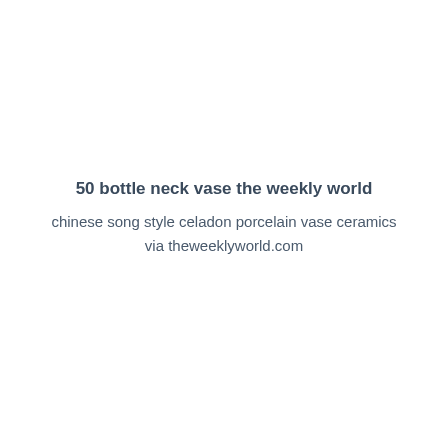50 bottle neck vase the weekly world
chinese song style celadon porcelain vase ceramics via theweeklyworld.com